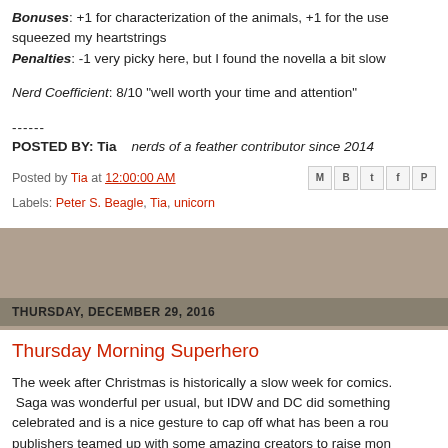Bonuses: +1 for characterization of the animals, +1 for the use squeezed my heartstrings
Penalties: -1 very picky here, but I found the novella a bit slow
Nerd Coefficient: 8/10 "well worth your time and attention"
------
POSTED BY: Tia    nerds of a feather contributor since 2014
Posted by Tia at 12:00:00 AM
Labels: Peter S. Beagle, Tia, unicorn
THURSDAY, DECEMBER 29, 2016
Thursday Morning Superhero
The week after Christmas is historically a slow week for comics. Saga was wonderful per usual, but IDW and DC did something celebrated and is a nice gesture to cap off what has been a rou publishers teamed up with some amazing creators to raise mon